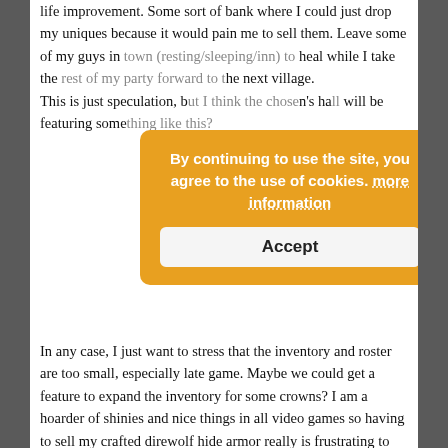life improvement. Some sort of bank where I could just drop my uniques because it would pain me to sell them. Leave some of my guys in town (resting/sleeping/inn) to heal while I take the rest of my party forward to the next village.
This is just speculation, but I think the chosen's hall will be featuring something like this?
[Figure (screenshot): Cookie consent overlay dialog with orange background, text 'By continuing to use the site, you agree to the use of cookies. more information' and an Accept button.]
In any case, I just want to stress that the inventory and roster are too small, especially late game. Maybe we could get a feature to expand the inventory for some crowns? I am a hoarder of shinies and nice things in all video games so having to sell my crafted direwolf hide armor really is frustrating to me. I would rather put it on a mannequinn instead.
Also I would like to suggest a respec feature for perks. It happened to me a few times that I learned the wrong perk on accident, mostly mix up dodge with anticipation because they look similar. On another occasion I tried out a 2-Handed axe build because I found this insane unique axe. Sadly my guy ended up having only 90 melee skill on lv11 which is enough for a 2h sword but not quite enough for an axe (because of accuracy modifiers). This is where changing the weapon...